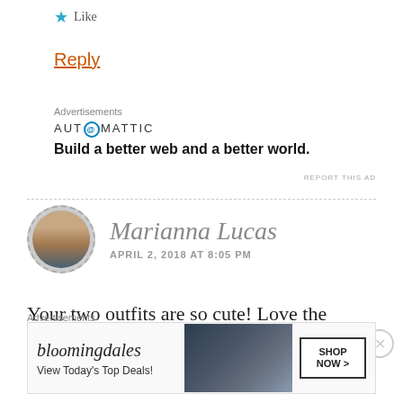Like
Reply
Advertisements
[Figure (other): Automattic advertisement: logo and tagline 'Build a better web and a better world.']
REPORT THIS AD
Marianna Lucas
APRIL 2, 2018 AT 8:05 PM
Your two outfits are so cute! Love the monthly recap!
Advertisements
[Figure (other): Bloomingdale's advertisement: logo, 'View Today's Top Deals!', with SHOP NOW button]